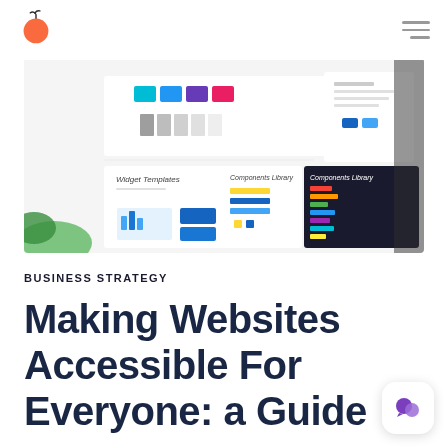[Figure (screenshot): Screenshot of a UI/design system interface showing color swatches (teal, blue, purple, red), gray scale bars, Widget Templates panel, Components Library panel, and a dark sidebar with colorful elements on a monitor screen.]
BUSINESS STRATEGY
Making Websites Accessible For Everyone: a Guide